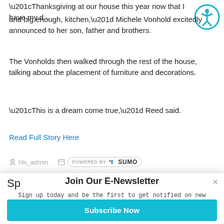“Thanksgiving at our house this year now that I have my d... and big enough, kitchen,” Michele Vonhold excitedly announced to her son, father and brothers.
The Vonholds then walked through the rest of the house, talking about the placement of furniture and decorations.
“This is a dream come true,” Reed said.
Read Full Story Here
hls_admin
POWERED BY SUMO
Sp
Join Our E-Newsletter
Sign up today and be the first to get notified on new updates.
Subscribe Now